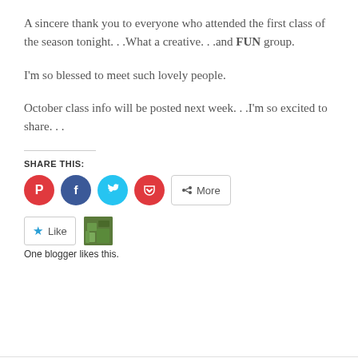A sincere thank you to everyone who attended the first class of the season tonight. . .What a creative. . .and FUN group.
I'm so blessed to meet such lovely people.
October class info will be posted next week. . .I'm so excited to share. . .
SHARE THIS:
[Figure (infographic): Social share buttons: Pinterest (red circle with P), Facebook (blue circle with f), Twitter (cyan circle with bird), Pocket (red circle with pocket icon), and a More button with share icon]
[Figure (infographic): Like button with blue star and text 'Like', followed by a green thumbnail image of a blogger]
One blogger likes this.